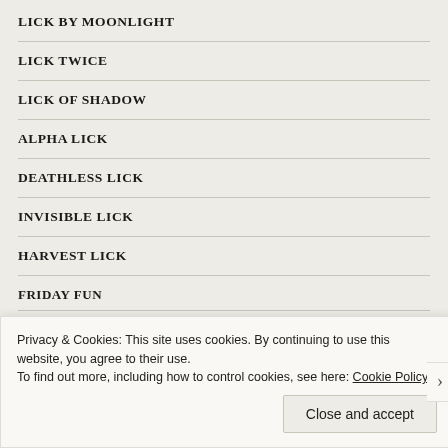LICK BY MOONLIGHT
LICK TWICE
LICK OF SHADOW
ALPHA LICK
DEATHLESS LICK
INVISIBLE LICK
HARVEST LICK
FRIDAY FUN
WEEK ONE – WOLF OF THE WEST
Privacy & Cookies: This site uses cookies. By continuing to use this website, you agree to their use.
To find out more, including how to control cookies, see here: Cookie Policy
Close and accept